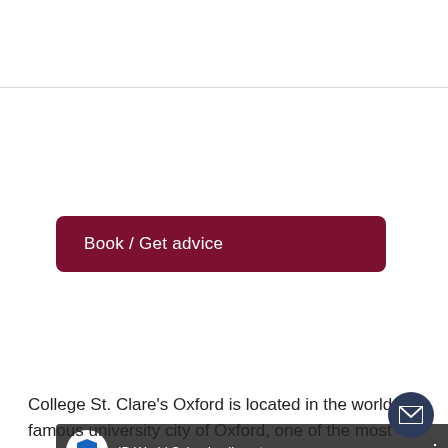[Figure (screenshot): Dark red / maroon rounded button labeled 'Book / Get advice']
[Figure (screenshot): YouTube-style video thumbnail for 'IB World School college tour' at St. Clare's Oxford, showing the St. Clare's Oxford logo and 'COLLEGE TOUR' text with a play button in the center]
College St. Clare's Oxford is located in the world famous university city of Oxford, one of the most